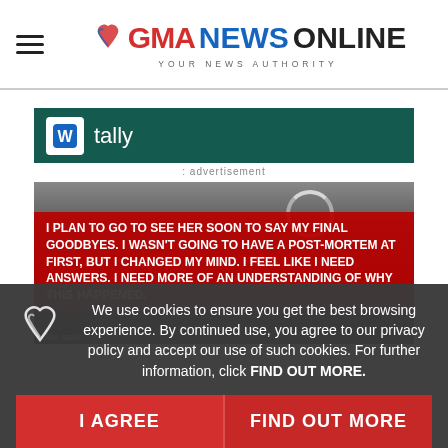GMA NEWS ONLINE - YOUR NEWS AUTHORITY
[Figure (screenshot): Tally advertisement banner with green background and Tally logo]
advertisement
[Figure (screenshot): News video screenshot with red overlay text: I PLAN TO GO TO SEE HER SOON TO SAY MY FINAL GOODBYES. I WASN'T GOING TO HAVE A POST-MORTEM AT FIRST, BUT I CHANGED MY MIND. I FEEL LIKE I NEED ANSWERS. I NEED MORE OF AN UNDERSTANDING OF WHY THIS HAPPENED. She said:]
We use cookies to ensure you get the best browsing experience. By continued use, you agree to our privacy policy and accept our use of such cookies. For further information, click FIND OUT MORE.
I AGREE
FIND OUT MORE